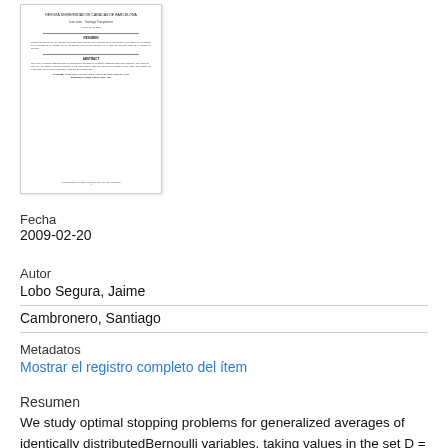[Figure (other): Thumbnail preview of the academic paper document]
Fecha
2009-02-20
Autor
Lobo Segura, Jaime
Cambronero, Santiago
Metadatos
Mostrar el registro completo del ítem
Resumen
We study optimal stopping problems for generalized averages of identically distributedBernoulli variables, taking values in the set D = {d0, d1}. We obtain a recurrentformula in the finite horizon case